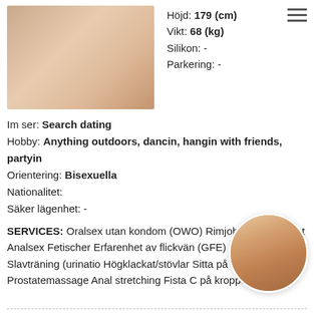[Figure (photo): Profile photo of a person lying on white bedding, partial body view]
Höjd: 179 (cm)
Vikt: 68 (kg)
Silikon: -
Parkering: -
Im ser: Search dating
Hobby: Anything outdoors, dancin, hangin with friends, partyin
Orientering: Bisexuella
Nationalitet:
Säker lägenhet: -
SERVICES: Oralsex utan kondom (OWO) Rimjob Lätt dominant Analsex Fetischer Erfarenhet av flickvän (GFE) Roll förändras Slavträning (uration) Högklackat/stövlar Sitta på ansiktet Sme Prostatemassage Anal stretching Fista G på kroppen)
[Figure (photo): Small circular thumbnail photo of a person, torso view]